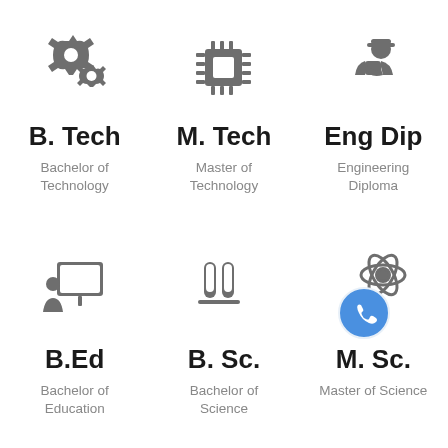[Figure (illustration): Settings/gears icon for B. Tech]
B. Tech
Bachelor of Technology
[Figure (illustration): Microchip/circuit icon for M. Tech]
M. Tech
Master of Technology
[Figure (illustration): Worker/engineer icon for Eng Dip]
Eng Dip
Engineering Diploma
[Figure (illustration): Teacher at board icon for B.Ed]
B.Ed
Bachelor of Education
[Figure (illustration): Test tubes/science icon for B. Sc.]
B. Sc.
Bachelor of Science
[Figure (illustration): Science/atom icon with phone button overlay for M. Sc.]
M. Sc.
Master of Science